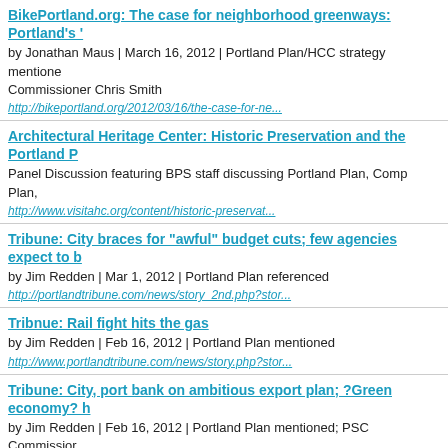BikePortland.org: The case for neighborhood greenways: Portland's '
by Jonathan Maus | March 16, 2012 | Portland Plan/HCC strategy mentioned Commissioner Chris Smith
http://bikeportland.org/2012/03/16/the-case-for-ne...
Architectural Heritage Center: Historic Preservation and the Portland P
Panel Discussion featuring BPS staff discussing Portland Plan, Comp Plan,
http://www.visitahc.org/content/historic-preservat...
Tribune: City braces for "awful" budget cuts; few agencies expect to b
by Jim Redden | Mar 1, 2012 | Portland Plan referenced
http://portlandtribune.com/news/story_2nd.php?stor...
Tribnue: Rail fight hits the gas
by Jim Redden | Feb 16, 2012 | Portland Plan mentioned
http://www.portlandtribune.com/news/story.php?stor...
Tribune: City, port bank on ambitious export plan; ?Green economy? h
by Jim Redden | Feb 16, 2012 | Portland Plan mentioned; PSC Commissior
http://portlandtribune.com/news/story_2nd.php?stor...
Mid-County Memo: East Portland prominent in Portland Plan
by Lee Perlman | Jan 30, 2011 | Planning and Sustainability Commission he
http://midcountymemo.com/memlog/portland_plan/
Tribune: Portland Plan sets sights on the future; regional tension on s roadmap
by Jim Redden | Jan 19, 2012 | story describes the overall scope of plan, pr plan
http://www.portlandtribune.com/news/story_2nd.php?...